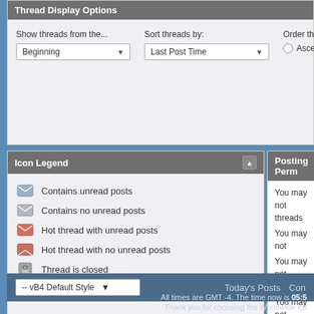Thread Display Options
Show threads from the...
Beginning
Sort threads by:
Last Post Time
Order threads
Ascending
Icon Legend
Contains unread posts
Contains no unread posts
Hot thread with unread posts
Hot thread with no unread posts
Thread is closed
You have posted in this thread
Posting Perm
You may not threads
You may not
You may not attachments
You may not posts
-- vB4 Default Style
Today's Posts   Con
All times are GMT -4. The time now is 05:5
Thank you for choosing the Worldwide Ko